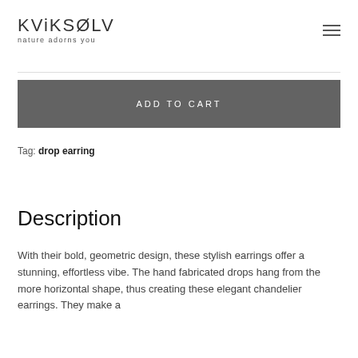KVIKSØLV nature adorns you
ADD TO CART
Tag: drop earring
Description
With their bold, geometric design, these stylish earrings offer a stunning, effortless vibe. The hand fabricated drops hang from the more horizontal shape, thus creating these elegant chandelier earrings. They make a